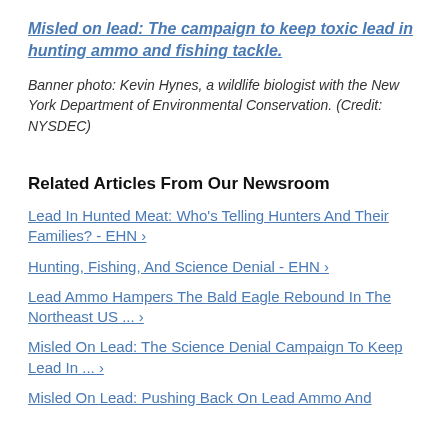Misled on lead: The campaign to keep toxic lead in hunting ammo and fishing tackle.
Banner photo: Kevin Hynes, a wildlife biologist with the New York Department of Environmental Conservation. (Credit: NYSDEC)
Related Articles From Our Newsroom
Lead In Hunted Meat: Who's Telling Hunters And Their Families? - EHN ›
Hunting, Fishing, And Science Denial - EHN ›
Lead Ammo Hampers The Bald Eagle Rebound In The Northeast US ... ›
Misled On Lead: The Science Denial Campaign To Keep Lead In ... ›
Misled On Lead: Pushing Back On Lead Ammo And